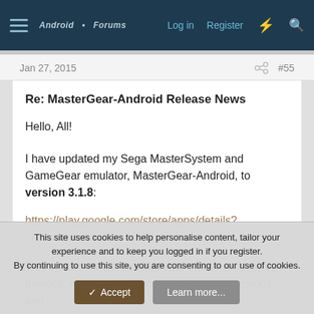Android Forum — Log in  Register
Jan 27, 2015  #55
Re: MasterGear-Android Release News
Hello, All!
I have updated my Sega MasterSystem and GameGear emulator, MasterGear-Android, to version 3.1.8:
https://play.google.com/store/apps/details?id=com.fms.mg
This update introduces Material theme on Lollipop+ devices, replaces all UI icons with newer versions, and
This site uses cookies to help personalise content, tailor your experience and to keep you logged in if you register.
By continuing to use this site, you are consenting to our use of cookies.